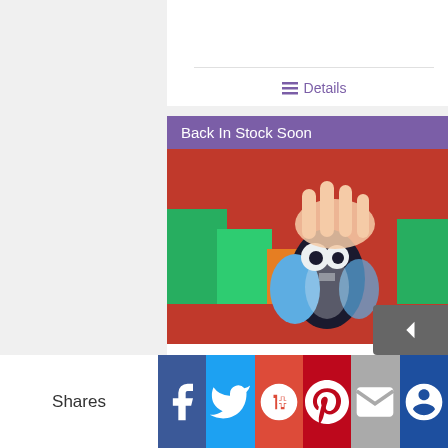Details
[Figure (photo): Photo of Gobblet Gobblers toy — a small black penguin-like piece with large blue eyes and a teal wing/shell, being held by a child's hand, surrounded by colorful wooden blocks in green, orange, and red]
Back In Stock Soon
Gobblet Gobblers
$36.35
Shares | Facebook | Twitter | Google+ | Pinterest | Email | Bloglovin